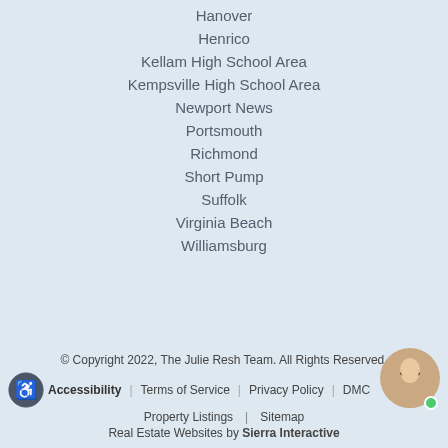Hanover
Henrico
Kellam High School Area
Kempsville High School Area
Newport News
Portsmouth
Richmond
Short Pump
Suffolk
Virginia Beach
Williamsburg
© Copyright 2022, The Julie Resh Team. All Rights Reserved. | Accessibility | Terms of Service | Privacy Policy | DMC... | Property Listings | Sitemap | Real Estate Websites by Sierra Interactive